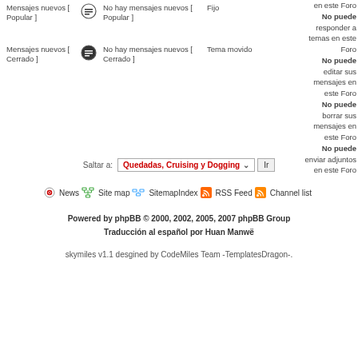Mensajes nuevos [ Popular ]
No hay mensajes nuevos [ Popular ]
Fijo
Mensajes nuevos [ Cerrado ]
No hay mensajes nuevos [ Cerrado ]
Tema movido
No puede responder a temas en este Foro
No puede editar sus mensajes en este Foro
No puede borrar sus mensajes en este Foro
No puede enviar adjuntos en este Foro
Saltar a: Quedadas, Cruising y Dogging Ir
News  Site map  SitemapIndex  RSS Feed  Channel list
Powered by phpBB © 2000, 2002, 2005, 2007 phpBB Group
Traducción al español por Huan Manwë
skymiles v1.1 desgined by CodeMiles Team -TemplatesDragon-.